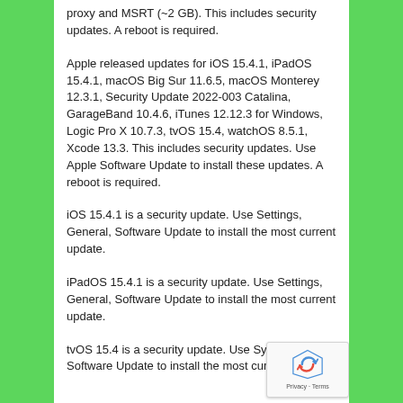proxy and MSRT (~2 GB). This includes security updates. A reboot is required.
Apple released updates for iOS 15.4.1, iPadOS 15.4.1, macOS Big Sur 11.6.5, macOS Monterey 12.3.1, Security Update 2022-003 Catalina, GarageBand 10.4.6, iTunes 12.12.3 for Windows, Logic Pro X 10.7.3, tvOS 15.4, watchOS 8.5.1, Xcode 13.3. This includes security updates. Use Apple Software Update to install these updates. A reboot is required.
iOS 15.4.1 is a security update. Use Settings, General, Software Update to install the most current update.
iPadOS 15.4.1 is a security update. Use Settings, General, Software Update to install the most current update.
tvOS 15.4 is a security update. Use System, Software Update to install the most current version.